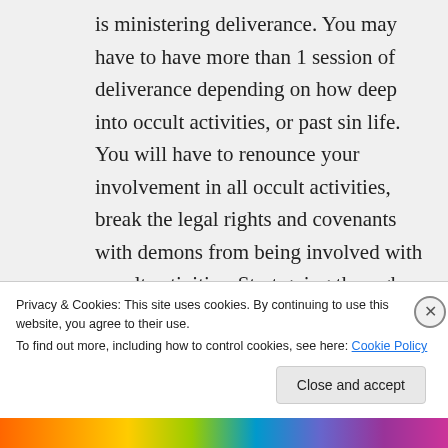is ministering deliverance. You may have to have more than 1 session of deliverance depending on how deep into occult activities, or past sin life. You will have to renounce your involvement in all occult activities, break the legal rights and covenants with demons from being involved with occult activities. Start going through your possessions and get rid of any books, crystals, tarot cards, yoga mats, etc. anything to do with the occult. Burning
Privacy & Cookies: This site uses cookies. By continuing to use this website, you agree to their use.
To find out more, including how to control cookies, see here: Cookie Policy
Close and accept